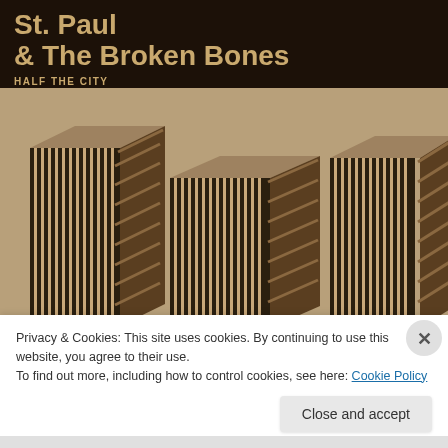St. Paul & The Broken Bones
HALF THE CITY
[Figure (illustration): Album cover art for 'Half the City' by St. Paul & The Broken Bones. Geometric isometric illustration of stylized skyscrapers/city buildings rendered in black and tan/kraft paper tones on a sandy brown background.]
Privacy & Cookies: This site uses cookies. By continuing to use this website, you agree to their use.
To find out more, including how to control cookies, see here: Cookie Policy
Close and accept